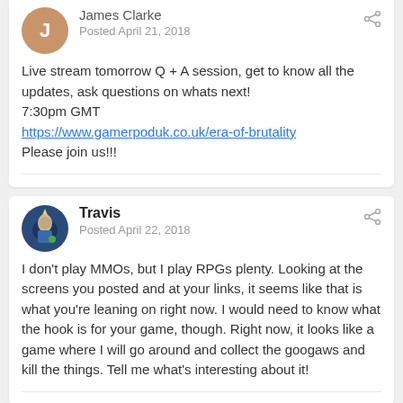James Clarke — Posted April 21, 2018
Live stream tomorrow Q + A session, get to know all the updates, ask questions on whats next!
7:30pm GMT
https://www.gamerpoduk.co.uk/era-of-brutality
Please join us!!!
Travis — Posted April 22, 2018
I don't play MMOs, but I play RPGs plenty. Looking at the screens you posted and at your links, it seems like that is what you're leaning on right now. I would need to know what the hook is for your game, though. Right now, it looks like a game where I will go around and collect the googaws and kill the things. Tell me what's interesting about it!
James Clarke